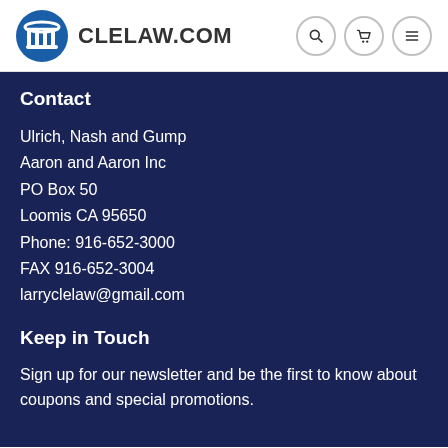CLELAW.COM
Contact
Ulrich, Nash and Gump
Aaron and Aaron Inc
PO Box 50
Loomis CA 95650
Phone: 916-652-3000
FAX 916-652-3004
larryclelaw@gmail.com
Keep in Touch
Sign up for our newsletter and be the first to know about coupons and special promotions.